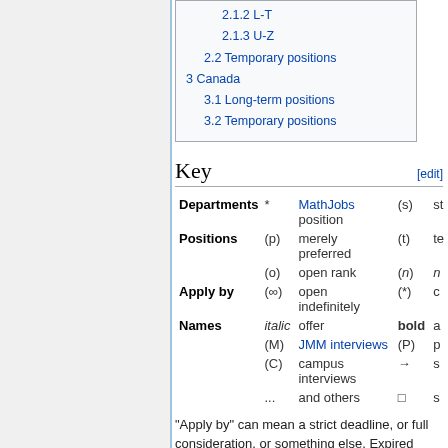2.1.2 L-T
2.1.3 U-Z
2.2 Temporary positions
3 Canada
3.1 Long-term positions
3.2 Temporary positions
Key
| Category | Symbol | Description | Symbol2 | Description2 |
| --- | --- | --- | --- | --- |
| Departments | * | MathJobs position | (s) | st… |
| Positions | (p) | merely preferred | (t) | te… |
|  | (o) | open rank | (n) | n… |
| Apply by | (∞) | open indefinitely | (*) | c… |
| Names | italic | offer | bold | a… |
|  | (M) | JMM interviews | (P) | p… |
|  | (C) | campus interviews | → | s… |
|  | ... | and others | □ | s… |
"Apply by" can mean a strict deadline, or full consideration, or something else. Expired deadlines may be replaced by the last deadline listed. See the ads for details.